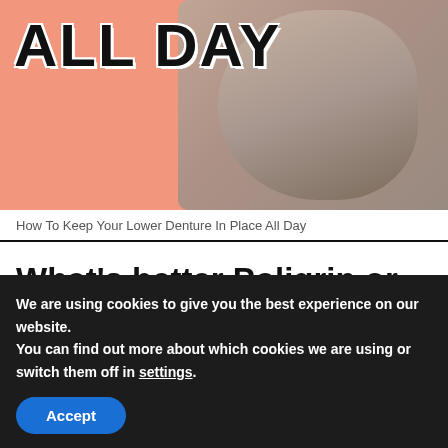[Figure (photo): Orange background image with large bold text 'ALL DAY' and a person with glasses showing their teeth on the right side]
How To Keep Your Lower Denture In Place All Day
What's better Poligrip or Fixodent?
When choosing between Poligrip and Fixodent, it really comes
We are using cookies to give you the best experience on our website.
You can find out more about which cookies we are using or switch them off in settings.
Accept